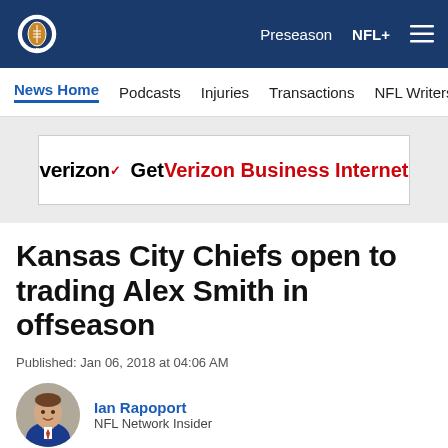NFL — Preseason  NFL+
News Home  Podcasts  Injuries  Transactions  NFL Writers  Se
[Figure (screenshot): Verizon advertisement banner: verizon logo with checkmark, Get Verizon Business Internet]
Kansas City Chiefs open to trading Alex Smith in offseason
Published: Jan 06, 2018 at 04:06 AM
Ian Rapoport — NFL Network Insider
[Figure (photo): Headshot photo of Ian Rapoport in a blue suit, smiling]
[Figure (infographic): Social share icons: Facebook, Twitter, Email, Link]